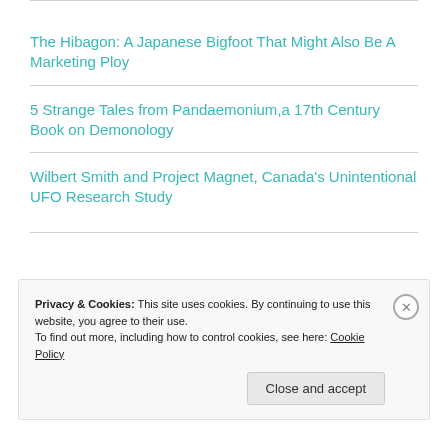The Hibagon: A Japanese Bigfoot That Might Also Be A Marketing Ploy
5 Strange Tales from Pandaemonium,a 17th Century Book on Demonology
Wilbert Smith and Project Magnet, Canada's Unintentional UFO Research Study
Privacy & Cookies: This site uses cookies. By continuing to use this website, you agree to their use.
To find out more, including how to control cookies, see here: Cookie Policy
Close and accept